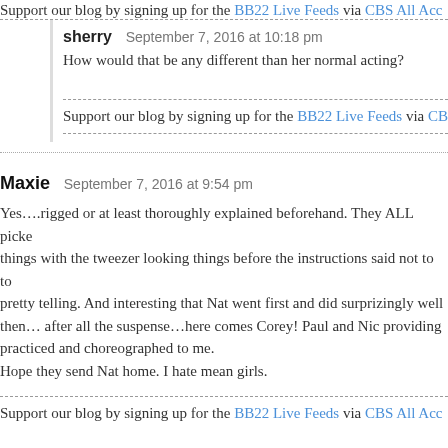Support our blog by signing up for the BB22 Live Feeds via CBS All Acc…
sherry  September 7, 2016 at 10:18 pm
How would that be any different than her normal acting?
Support our blog by signing up for the BB22 Live Feeds via CBS All A…
Maxie  September 7, 2016 at 9:54 pm
Yes….rigged or at least thoroughly explained beforehand. They ALL picked things with the tweezer looking things before the instructions said not to to… pretty telling. And interesting that Nat went first and did surprizingly well… then… after all the suspense…here comes Corey! Paul and Nic providing… practiced and choreographed to me.
Hope they send Nat home. I hate mean girls.
Support our blog by signing up for the BB22 Live Feeds via CBS All Acc…